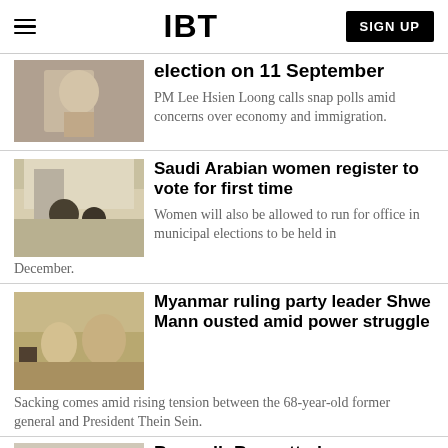IBT | SIGN UP
election on 11 September
PM Lee Hsien Loong calls snap polls amid concerns over economy and immigration.
Saudi Arabian women register to vote for first time
Women will also be allowed to run for office in municipal elections to be held in December.
Myanmar ruling party leader Shwe Mann ousted amid power struggle
Sacking comes amid rising tension between the 68-year-old former general and President Thein Sein.
Burundi: Boycotted